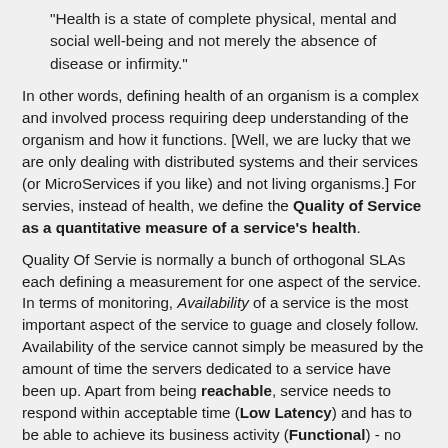"Health is a state of complete physical, mental and social well-being and not merely the absence of disease or infirmity."
In other words, defining health of an organism is a complex and involved process requiring deep understanding of the organism and how it functions. [Well, we are lucky that we are only dealing with distributed systems and their services (or MicroServices if you like) and not living organisms.] For servies, instead of health, we define the Quality of Service as a quantitative measure of a service's health.
Quality Of Servie is normally a bunch of orthogonal SLAs each defining a measurement for one aspect of the service. In terms of monitoring, Availability of a service is the most important aspect of the service to guage and closely follow. Availability of the service cannot simply be measured by the amount of time the servers dedicated to a service have been up. Apart from being reachable, service needs to respond within acceptable time (Low Latency) and has to be able to achieve its business activity (Functional) - no point server